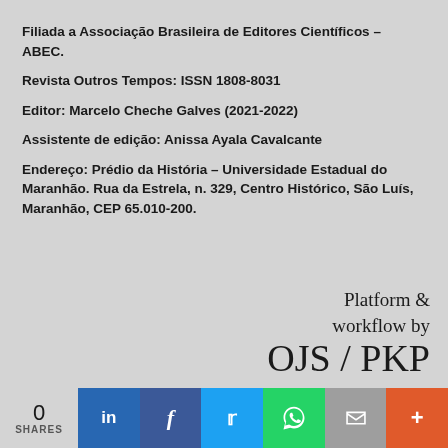Filiada a Associação Brasileira de Editores Científicos – ABEC.
Revista Outros Tempos: ISSN 1808-8031
Editor: Marcelo Cheche Galves (2021-2022)
Assistente de edição: Anissa Ayala Cavalcante
Endereço: Prédio da História – Universidade Estadual do Maranhão. Rua da Estrela, n. 329, Centro Histórico, São Luís, Maranhão, CEP 65.010-200.
[Figure (logo): OJS / PKP platform and workflow logo with text 'Platform & workflow by OJS / PKP']
0 SHARES | LinkedIn | Facebook | Twitter | WhatsApp | Email | More